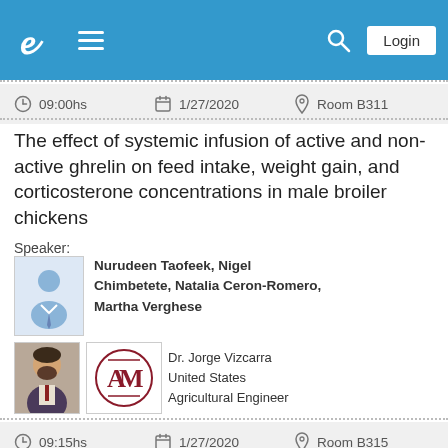Navigation bar with logo, menu, search, and Login button
09:00hs   1/27/2020   Room B311
The effect of systemic infusion of active and non-active ghrelin on feed intake, weight gain, and corticosterone concentrations in male broiler chickens
Speaker:
Nurudeen Taofeek, Nigel Chimbetete, Natalia Ceron-Romero, Martha Verghese
Dr. Jorge Vizcarra
United States
Agricultural Engineer
09:15hs   1/27/2020   Room B315
Constant and cyclic chronic heat stress models differentially influence growth performance, and